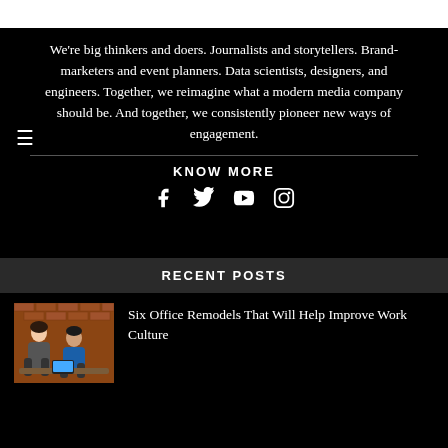We're big thinkers and doers. Journalists and storytellers. Brand-marketers and event planners. Data scientists, designers, and engineers. Together, we reimagine what a modern media company should be. And together, we consistently pioneer new ways of engagement.
KNOW MORE
[Figure (other): Social media icons: Facebook, Twitter, YouTube, Instagram]
RECENT POSTS
[Figure (photo): Photo of people working in an office, woman and man looking at a computer]
Six Office Remodels That Will Help Improve Work Culture